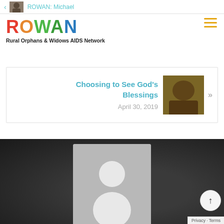ROWAN: Michael
[Figure (logo): ROWAN colorful logo with tagline Rural Orphans & Widows AIDS Network]
Rural Orphans & Widows AIDS Network
[Figure (other): Hamburger menu icon with three orange horizontal lines]
Choosing to See God's Blessings
April 30, 2019
[Figure (photo): Small thumbnail photo of a child]
[Figure (photo): Dark background with a grey placeholder silhouette avatar image in the center]